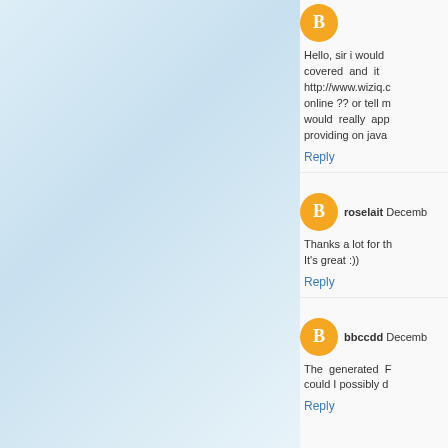[Figure (screenshot): Blog comment section showing three user comments with orange Blogger avatar icons, usernames, dates, comment text, and Reply links on a white/light-blue background]
Hello, sir i would covered and it http://www.wiziq.c online ?? or tell m would really app providing on java
Reply
roselait December
Thanks a lot for th It's great :))
Reply
bbccdd December
The generated F could I possibly d
Reply